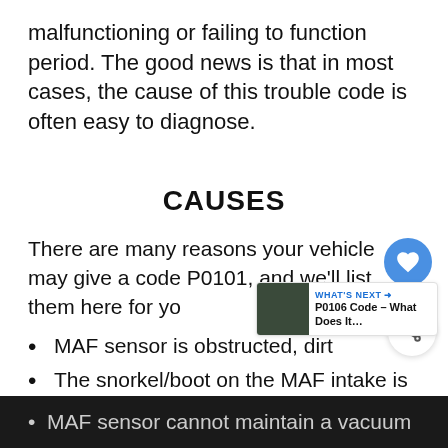malfunctioning or failing to function period. The good news is that in most cases, the cause of this trouble code is often easy to diagnose.
CAUSES
There are many reasons your vehicle may give a code P0101, and we'll list them here for you.
MAF sensor is obstructed, dirt…
The snorkel/boot on the MAF intake is torn, cracked or disconnected/loose
MAF sensor cannot maintain a vacuum